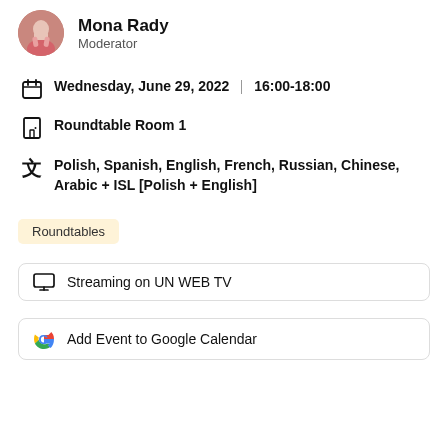[Figure (photo): Circular avatar photo of Mona Rady]
Mona Rady
Moderator
Wednesday, June 29, 2022 | 16:00-18:00
Roundtable Room 1
Polish, Spanish, English, French, Russian, Chinese, Arabic + ISL [Polish + English]
Roundtables
Streaming on UN WEB TV
Add Event to Google Calendar